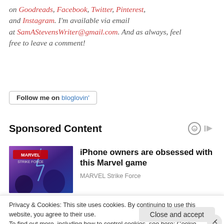on Goodreads, Facebook, Twitter, Pinterest, and Instagram. I'm available via email at SamAStevensWriter@gmail.com. And as always, feel free to leave a comment!
Follow me on bloglovin'
Sponsored Content
[Figure (photo): Marvel Strike Force game promotional image with superhero characters]
iPhone owners are obsessed with this Marvel game
MARVEL Strike Force
Privacy & Cookies: This site uses cookies. By continuing to use this website, you agree to their use.
To find out more, including how to control cookies, see here: Cookie Policy
Close and accept